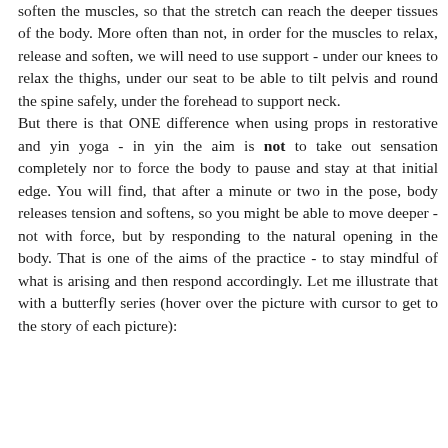soften the muscles, so that the stretch can reach the deeper tissues of the body. More often than not, in order for the muscles to relax, release and soften, we will need to use support - under our knees to relax the thighs, under our seat to be able to tilt pelvis and round the spine safely, under the forehead to support neck. But there is that ONE difference when using props in restorative and yin yoga - in yin the aim is not to take out sensation completely nor to force the body to pause and stay at that initial edge. You will find, that after a minute or two in the pose, body releases tension and softens, so you might be able to move deeper - not with force, but by responding to the natural opening in the body. That is one of the aims of the practice - to stay mindful of what is arising and then respond accordingly. Let me illustrate that with a butterfly series (hover over the picture with cursor to get to the story of each picture):